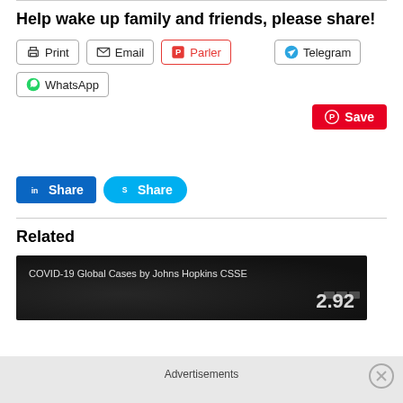Help wake up family and friends, please share!
[Figure (screenshot): Social share buttons: Print, Email, Parler, Telegram, WhatsApp, Pinterest Save, LinkedIn Share, Skype Share]
Related
[Figure (screenshot): COVID-19 Global Cases by Johns Hopkins CSSE dashboard screenshot showing 2.92 total cases]
Advertisements